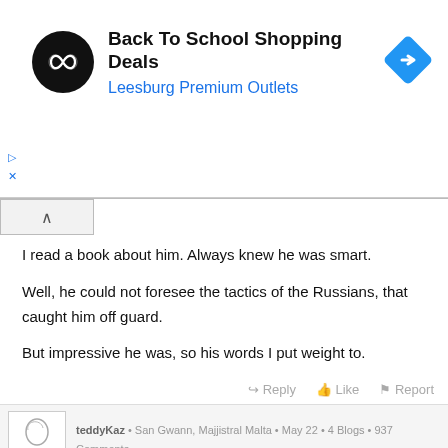[Figure (infographic): Advertisement banner for Back To School Shopping Deals at Leesburg Premium Outlets. Shows a black circular logo with infinity-like icon, text, and a blue diamond-shaped navigation icon.]
I read a book about him. Always knew he was smart.

Well, he could not foresee the tactics of the Russians, that caught him off guard.

But impressive he was, so his words I put weight to.
Reply   Like   Report
teddyKaz  •  San Gwann, Majjistral Malta  •  May 22  •  4 Blogs  •  937 Comments
Grandsiozzie: I read a book about him. Always